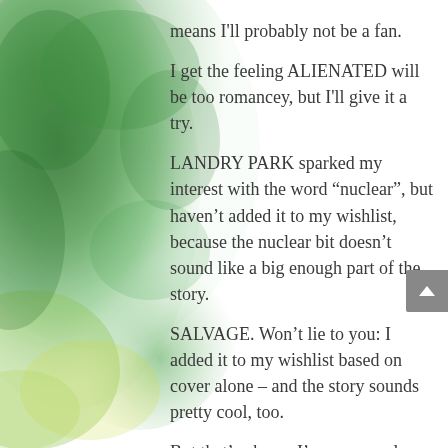means I'll probably not be a fan.
I get the feeling ALIENATED will be too romancey, but I'll give it a try.
LANDRY PARK sparked my interest with the word “nuclear”, but haven’t added it to my wishlist, because the nuclear bit doesn’t sound like a big enough part of the story.
SALVAGE. Won’t lie to you: I added it to my wishlist based on cover alone – and the story sounds pretty cool, too.
But that’s okay – I’m sure you love some books that I wouldn’t dare read